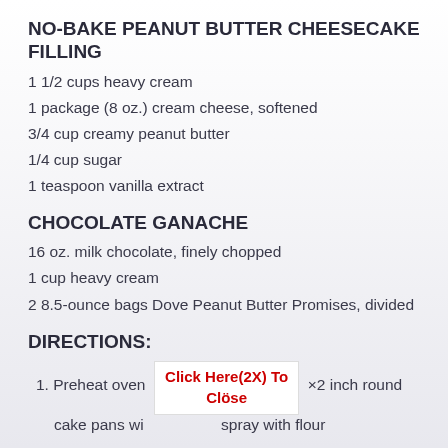NO-BAKE PEANUT BUTTER CHEESECAKE FILLING
1 1/2 cups heavy cream
1 package (8 oz.) cream cheese, softened
3/4 cup creamy peanut butter
1/4 cup sugar
1 teaspoon vanilla extract
CHOCOLATE GANACHE
16 oz. milk chocolate, finely chopped
1 cup heavy cream
2 8.5-ounce bags Dove Peanut Butter Promises, divided
DIRECTIONS:
1. Preheat oven [Click Here(2X) To Close] ×2 inch round cake pans wi [spray with flour]